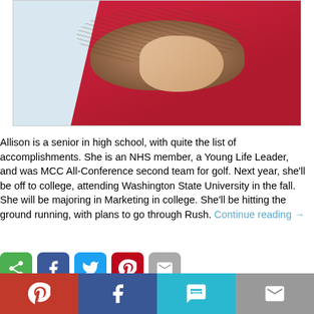[Figure (photo): Photo of a woman wearing a red coat with a fur collar, arms crossed, light blue background]
Allison is a senior in high school, with quite the list of accomplishments. She is an NHS member, a Young Life Leader, and was MCC All-Conference second team for golf. Next year, she'll be off to college, attending Washington State University in the fall. She will be majoring in Marketing in college. She'll be hitting the ground running, with plans to go through Rush. Continue reading →
[Figure (infographic): Social share buttons: share (green), Facebook (blue), Twitter (cyan), Pinterest (red), email (grey)]
[Figure (infographic): Bottom share bar: Pinterest (red), Facebook (dark blue), SMS (cyan), email (grey)]